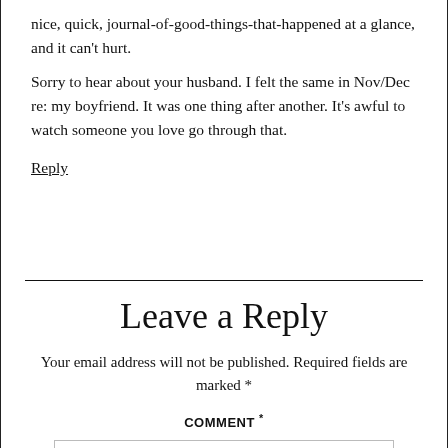nice, quick, journal-of-good-things-that-happened at a glance, and it can't hurt.
Sorry to hear about your husband. I felt the same in Nov/Dec re: my boyfriend. It was one thing after another. It's awful to watch someone you love go through that.
Reply
Leave a Reply
Your email address will not be published. Required fields are marked *
COMMENT *